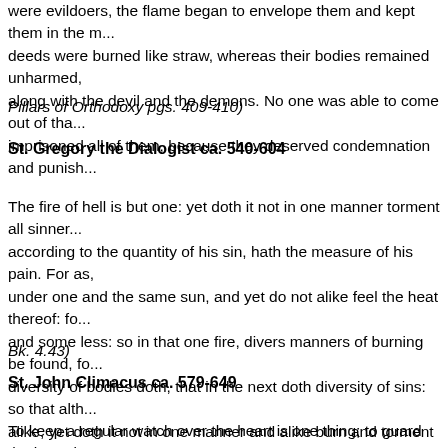were evildoers, the flame began to envelope them and kept them in the m... deeds were burned like straw, whereas their bodies remained unharmed, ... along with the devil and the demons. No one was able to come out of tha... imprisoned all of them, because they deserved condemnation and punish...
Pillars of Orthodoxy pgs. 409-410)
St. Gregory the Dialogist ca. 540-604
The fire of hell is but one: yet doth it not in one manner torment all sinner... according to the quantity of his sin, hath the measure of his pain. For as, ... under one and the same sun, and yet do not alike feel the heat thereof: f... and some less: so in that one fire, divers manners of burning be found, fo... diversity of bodies doth, that in the next doth diversity of sins: so that alth... alike, yet doth it not in one manner and alike burn and torment them that...
Bk. 4.43)
St. John Climacus ca. 579-649
To keep a regular watch over the heart is one thing; to guard the heart by... another for the mind is the ruler and high priest offering spiritual sacrifices... heaven's holy fire lays hold of the former, it burns them because they still... what one of those endowed with the title of Theologian tells us. (i.e. St. G... as for the latter, it enlightens them in proportion to the perfection they hav... the same fire that is called that which consumes (cf. Heb. 12:29) and that...